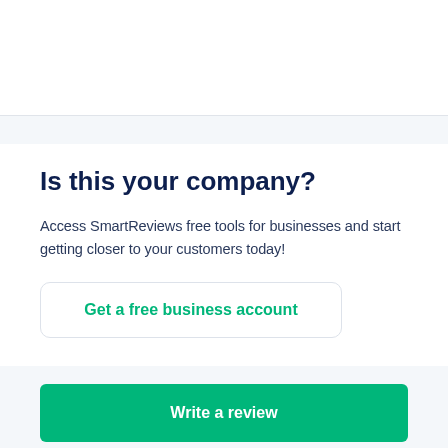Is this your company?
Access SmartReviews free tools for businesses and start getting closer to your customers today!
Get a free business account
Write a review